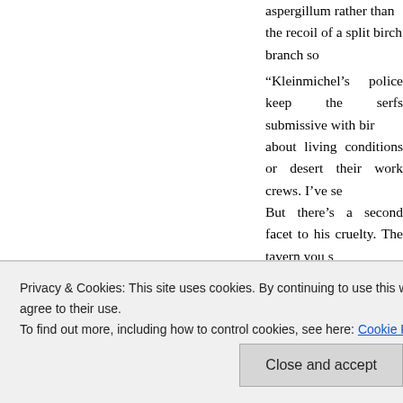aspergillum rather than the recoil of a split birch branch so
“Kleinmichel’s police keep the serfs submissive with bir… about living conditions or desert their work crews. I’ve se… But there’s a second facet to his cruelty. The tavern you s… franchise given to Count Kankrin to minimize complaints by keeping the workers drunk in their spare time.”
“But the Russians worship you; can’t you intervene to in… Tom.
“Welcome to the railroad you haven’t been seeing fro… After three years, I’m surprised you’re not better inform… extraordinary focus and drive, which explains why the… schedule. Since your work is largely done, I’ve brought
Privacy & Cookies: This site uses cookies. By continuing to use this website, you agree to their use.
To find out more, including how to control cookies, see here: Cookie Policy
Close and accept